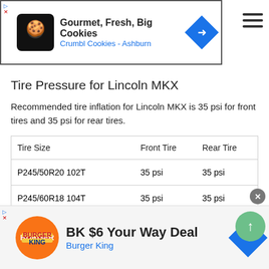[Figure (other): Top banner advertisement for Crumbl Cookies - Ashburn: Gourmet, Fresh, Big Cookies]
Tire Pressure for Lincoln MKX
Recommended tire inflation for Lincoln MKX is 35 psi for front tires and 35 psi for rear tires.
| Tire Size | Front Tire | Rear Tire |
| --- | --- | --- |
| P245/50R20 102T | 35 psi | 35 psi |
| P245/60R18 104T | 35 psi | 35 psi |
| P265/40R22 105W XL | 35 psi | 35 psi |
[Figure (other): Bottom banner advertisement for Burger King: BK $6 Your Way Deal]